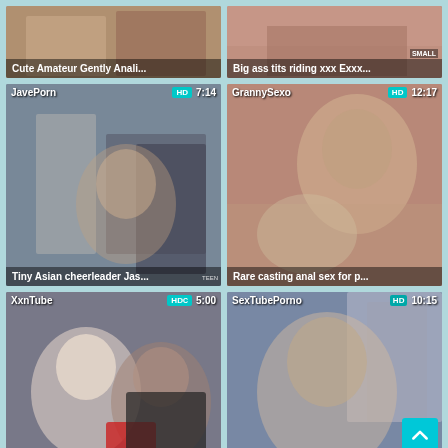[Figure (screenshot): Video thumbnail grid showing adult video website listings with thumbnails, site names, HD badges, durations, and titles]
Cute Amateur Gently Anali...
Big ass tits riding xxx Exxx...
JavePorn | HD | 7:14 | Tiny Asian cheerleader Jas...
GrannySexo | HD | 12:17 | Rare casting anal sex for p...
XxnTube | HD | 5:00 | Frannkie goes down the He...
SexTubePorno | HD | 10:15 | Asking for Light Began Kir...
HukTube | HD | 8:00
JavePorn | HD | 12:46